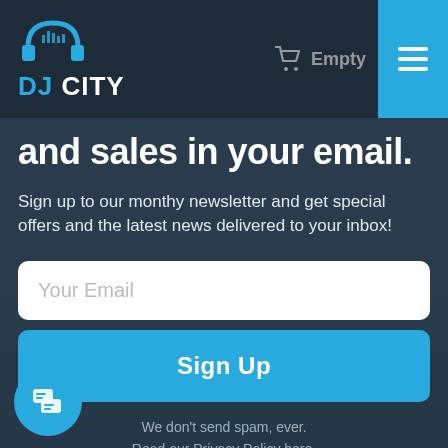DJ CITY — Empty (cart) — Menu
and sales in your email.
Sign up to our monthy newsletter and get special offers and the latest news delivered to your inbox!
Your Email
Sign Up
We don't send spam, ever. Read our Privacy Policy here.